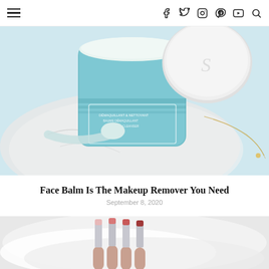[Figure (photo): Open teal Sisley face balm jar with white lid and a spatula on a marble surface with a gold necklace]
Face Balm Is The Makeup Remover You Need
September 8, 2020
[Figure (photo): Person holding multiple lipstick shades against a white fluffy background]